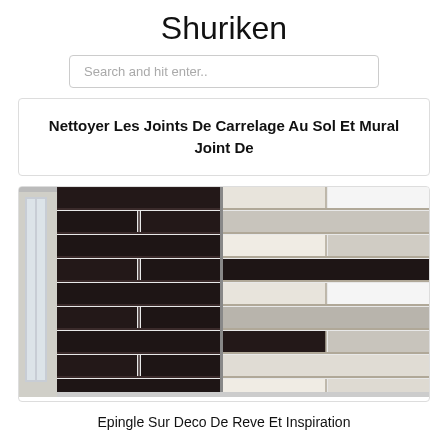Shuriken
Search and hit enter..
Nettoyer Les Joints De Carrelage Au Sol Et Mural Joint De
[Figure (photo): Photo of a bathroom corner showing dark charcoal/black subway tiles on the left wall and mixed beige/grey/white subway tiles on the right wall, with a window visible on the far left.]
Epingle Sur Deco De Reve Et Inspiration